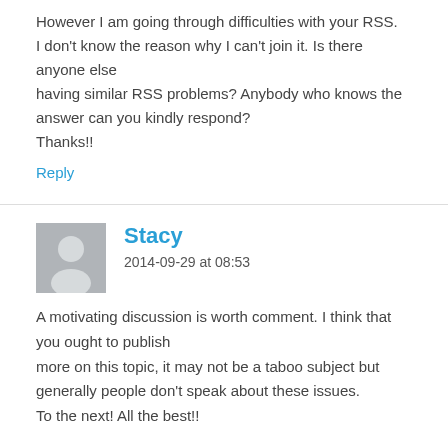However I am going through difficulties with your RSS. I don't know the reason why I can't join it. Is there anyone else having similar RSS problems? Anybody who knows the answer can you kindly respond?
Thanks!!
Reply
Stacy
2014-09-29 at 08:53
A motivating discussion is worth comment. I think that you ought to publish more on this topic, it may not be a taboo subject but generally people don't speak about these issues.
To the next! All the best!!